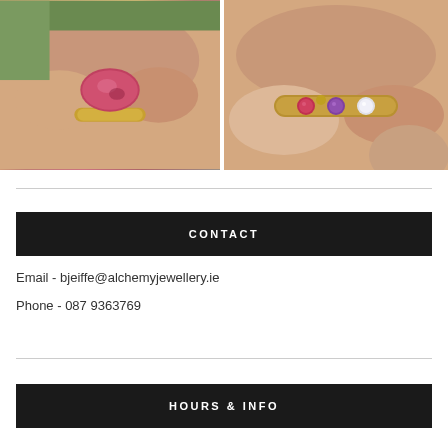[Figure (photo): Two photos side by side: left photo shows a hand holding a gold ring with a large oval pink/red gemstone (tourmaline); right photo shows a hand holding a gold band ring with multiple small gemstones (ruby, amethyst, diamond)]
CONTACT
Email - bjeiffe@alchemyjewellery.ie
Phone - 087 9363769
HOURS & INFO